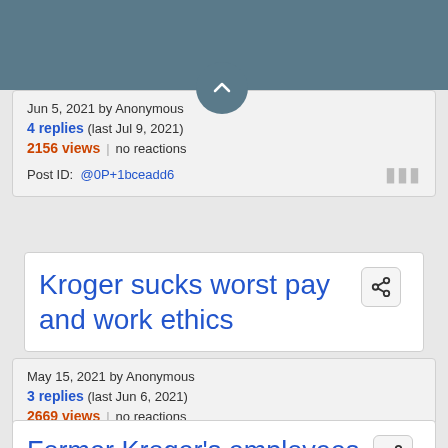[Figure (screenshot): Dark teal/slate blue header bar at top of page]
Jun 5, 2021 by Anonymous
4 replies (last Jul 9, 2021)
2156 views | no reactions
Post ID: @0P+1bceadd6
Kroger sucks worst pay and work ethics
May 15, 2021 by Anonymous
3 replies (last Jun 6, 2021)
2669 views | no reactions
Post ID: @0P+1aREBXrE
Former Kroger's employees,